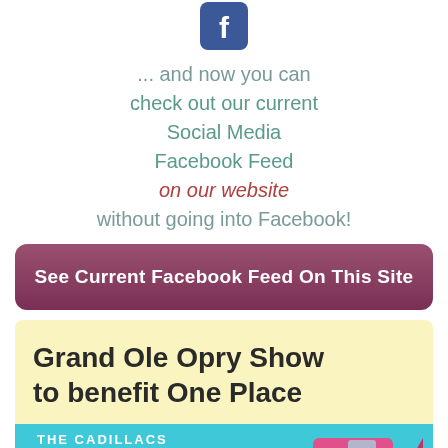[Figure (logo): Facebook icon/logo button in blue]
... and now you can
check out our current
Social Media
Facebook Feed
on our website
without going into Facebook!
See Current Facebook Feed On This Site
Grand Ole Opry Show to benefit One Place
[Figure (photo): The Cadillacs present banner with pink/turquoise background and a classic pink Cadillac car]